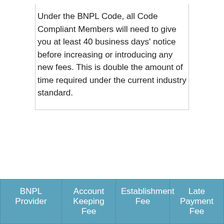Under the BNPL Code, all Code Compliant Members will need to give you at least 40 business days' notice before increasing or introducing any new fees. This is double the amount of time required under the current industry standard.
| BNPL Provider | Account Keeping Fee | Establishment Fee | Late Payment Fee |
| --- | --- | --- | --- |
| Afterpay | - | - | $10 and a further $7 if you still haven't paid the next week |